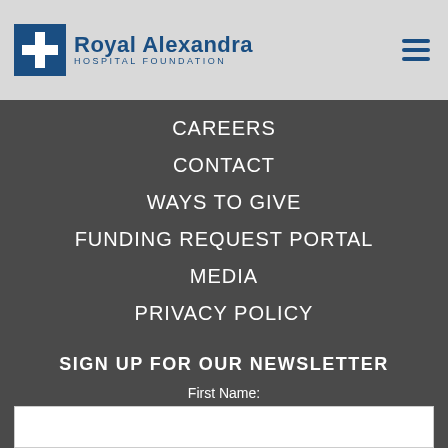Royal Alexandra Hospital Foundation
CAREERS
CONTACT
WAYS TO GIVE
FUNDING REQUEST PORTAL
MEDIA
PRIVACY POLICY
COMPLAINTS POLICY
SIGN UP FOR OUR NEWSLETTER
First Name:
Last Name: